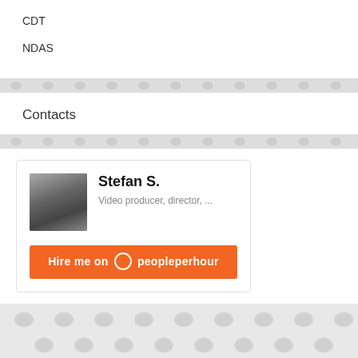CDT
NDAS
Contacts
[Figure (photo): Profile card for Stefan S., video producer and director, with a grayscale portrait photo and an orange 'Hire me on PeoplePerHour' button]
HOME ▾
ABOUT ME ▾